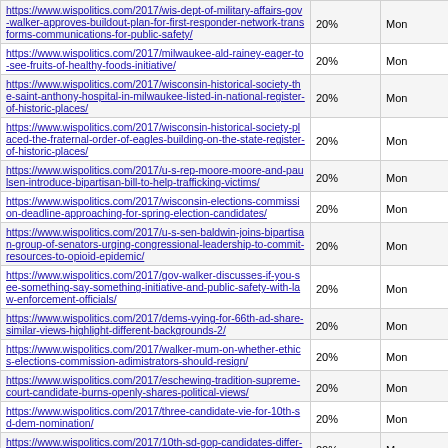| URL | % | Mon |
| --- | --- | --- |
| https://www.wispolitics.com/2017/wis-dept-of-military-affairs-gov-walker-approves-buildout-plan-for-first-responder-network-transforms-communications-for-public-safety/ | 20% | Mon |
| https://www.wispolitics.com/2017/milwaukee-ald-rainey-eager-to-see-fruits-of-healthy-foods-initiative/ | 20% | Mon |
| https://www.wispolitics.com/2017/wisconsin-historical-society-the-saint-anthony-hospital-in-milwaukee-listed-in-national-register-of-historic-places/ | 20% | Mon |
| https://www.wispolitics.com/2017/wisconsin-historical-society-placed-the-fraternal-order-of-eagles-building-on-the-state-register-of-historic-places/ | 20% | Mon |
| https://www.wispolitics.com/2017/u-s-rep-moore-moore-and-paulsen-introduce-bipartisan-bill-to-help-trafficking-victims/ | 20% | Mon |
| https://www.wispolitics.com/2017/wisconsin-elections-commission-deadline-approaching-for-spring-election-candidates/ | 20% | Mon |
| https://www.wispolitics.com/2017/u-s-sen-baldwin-joins-bipartisan-group-of-senators-urging-congressional-leadership-to-commit-resources-to-opioid-epidemic/ | 20% | Mon |
| https://www.wispolitics.com/2017/gov-walker-discusses-if-you-see-something-say-something-initiative-and-public-safety-with-law-enforcement-officials/ | 20% | Mon |
| https://www.wispolitics.com/2017/dems-vying-for-66th-ad-share-similar-views-highlight-different-backgrounds-2/ | 20% | Mon |
| https://www.wispolitics.com/2017/walker-mum-on-whether-ethics-elections-commission-adimistrators-should-resign/ | 20% | Mon |
| https://www.wispolitics.com/2017/eschewing-tradition-supreme-court-candidate-burns-openly-shares-political-views/ | 20% | Mon |
| https://www.wispolitics.com/2017/three-candidate-vie-for-10th-sd-dem-nomination/ | 20% | Mon |
| https://www.wispolitics.com/2017/10th-sd-gop-candidates-differ-on-foxconn-budget-taxes/ | 20% | Mon |
| https://www.wispolitics.com/2017/madison-business-leaders-see-incoming-millennial-talent/ | 20% | Mon |
| https://www.wispolitics.com/2017/new-group-promoting-renewable-energy- | 20% | Mon |